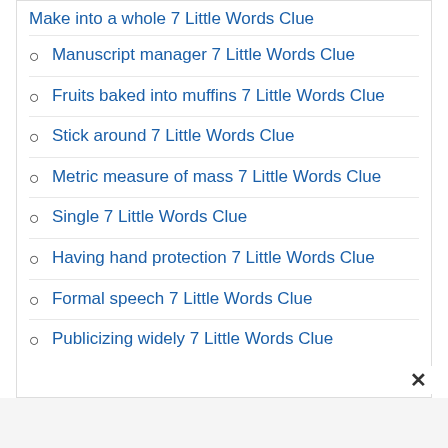Manuscript manager 7 Little Words Clue
Fruits baked into muffins 7 Little Words Clue
Stick around 7 Little Words Clue
Metric measure of mass 7 Little Words Clue
Single 7 Little Words Clue
Having hand protection 7 Little Words Clue
Formal speech 7 Little Words Clue
Publicizing widely 7 Little Words Clue